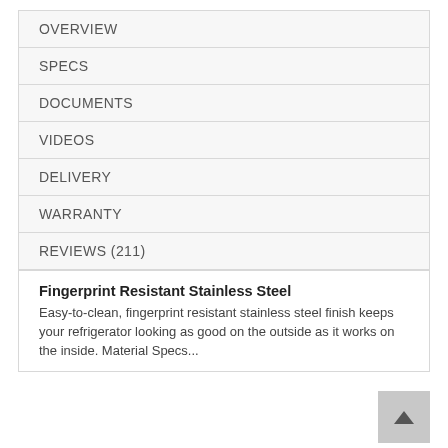OVERVIEW
SPECS
DOCUMENTS
VIDEOS
DELIVERY
WARRANTY
REVIEWS (211)
Fingerprint Resistant Stainless Steel
Easy-to-clean, fingerprint resistant stainless steel finish keeps your refrigerator looking as good on the outside as it works on the inside. Material Specs...